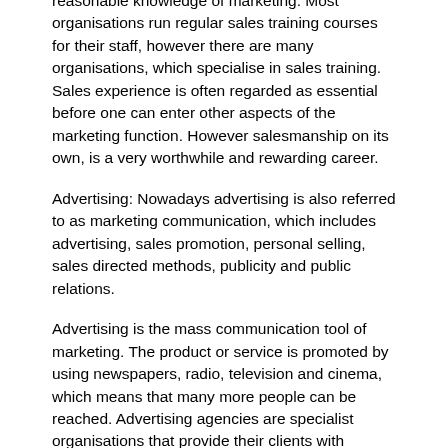reasonable knowledge of marketing. Most organisations run regular sales training courses for their staff, however there are many organisations, which specialise in sales training. Sales experience is often regarded as essential before one can enter other aspects of the marketing function. However salesmanship on its own, is a very worthwhile and rewarding career.
Advertising: Nowadays advertising is also referred to as marketing communication, which includes advertising, sales promotion, personal selling, sales directed methods, publicity and public relations.
Advertising is the mass communication tool of marketing. The product or service is promoted by using newspapers, radio, television and cinema, which means that many more people can be reached. Advertising agencies are specialist organisations that provide their clients with specialist knowledge to ensure effective advertising. Larger organisations have their own advertising departments or advertising specialists within a marketing department.